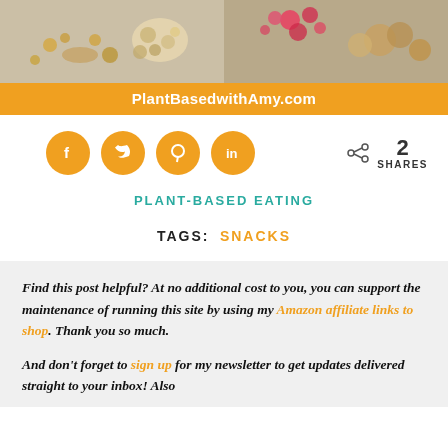[Figure (photo): Food photo banner showing nuts, seeds, berries, and mixed plant-based foods on a marble/wooden surface]
PlantBasedwithAmy.com
[Figure (infographic): Social media share buttons: Facebook, Twitter, Pinterest, LinkedIn circles in orange, plus share count showing 2 SHARES]
PLANT-BASED EATING
TAGS:  SNACKS
Find this post helpful? At no additional cost to you, you can support the maintenance of running this site by using my Amazon affiliate links to shop. Thank you so much.
And don't forget to sign up for my newsletter to get updates delivered straight to your inbox! Also